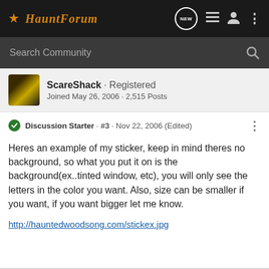HauntForum
Search Community
ScareShack · Registered
Joined May 26, 2006 · 2,515 Posts
Discussion Starter · #3 · Nov 22, 2006 (Edited)
Heres an example of my sticker, keep in mind theres no background, so what you put it on is the background(ex..tinted window, etc), you will only see the letters in the color you want. Also, size can be smaller if you want, if you want bigger let me know.

http://hauntedwoodsong.com/stickex.jpg